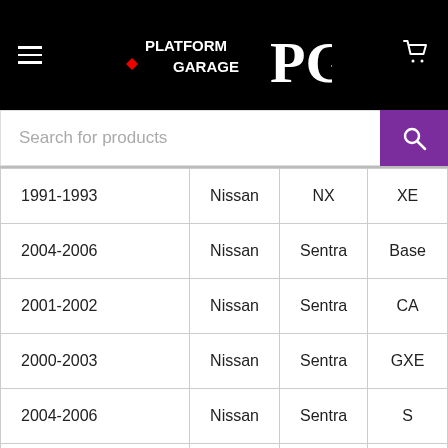Platform Garage PG
| Year | Make | Model | Trim |
| --- | --- | --- | --- |
| 1991-1993 | Nissan | NX | XE |
| 2004-2006 | Nissan | Sentra | Base |
| 2001-2002 | Nissan | Sentra | CA |
| 2000-2003 | Nissan | Sentra | GXE |
| 2004-2006 | Nissan | Sentra | S |
| 1991,1998-2001 | Nissan | Sentra | SE |